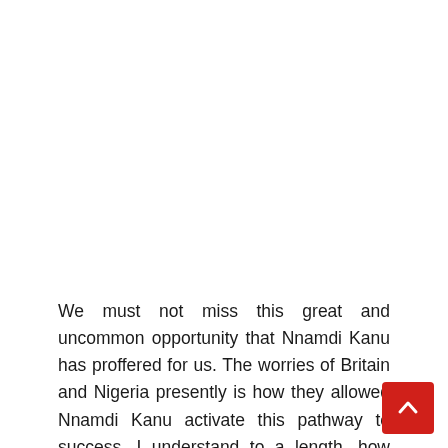We must not miss this great and uncommon opportunity that Nnamdi Kanu has proffered for us. The worries of Britain and Nigeria presently is how they allowed Nnamdi Kanu activate this pathway to success. I understand to a length, how Israel works especially within her intelligence circles which I th should be allowed to get settled within us. Israel's less talk and